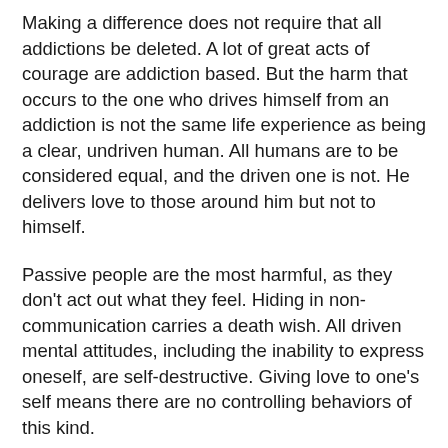Making a difference does not require that all addictions be deleted. A lot of great acts of courage are addiction based. But the harm that occurs to the one who drives himself from an addiction is not the same life experience as being a clear, undriven human. All humans are to be considered equal, and the driven one is not. He delivers love to those around him but not to himself.
Passive people are the most harmful, as they don't act out what they feel. Hiding in non-communication carries a death wish. All driven mental attitudes, including the inability to express oneself, are self-destructive. Giving love to one's self means there are no controlling behaviors of this kind.
Awareness of the addictive behavior begins the deletion of it. Being aware of the controller is the beginning step. Mind does all of its control by deciding on the most careful way to behave. A lack of offending behavior is the mind's idea of "good" behavior. But what is "good" is a mental attitude, not a generally accepted  concept. Being "good" is based on a conclusion of what "good" is and what it is not. Parents make this contribution as a child grows into adulthood. Accepting a